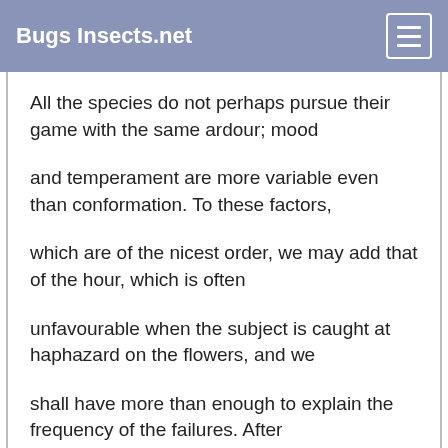Bugs Insects.net
All the species do not perhaps pursue their game with the same ardour; mood
and temperament are more variable even than conformation. To these factors,
which are of the nicest order, we may add that of the hour, which is often
unfavourable when the subject is caught at haphazard on the flowers, and we
shall have more than enough to explain the frequency of the failures. After
all, I must beware of representing my failures as the